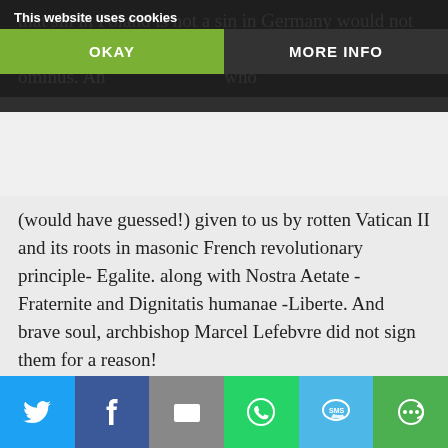that sin in Poland is not a sin in Germany would not be possible without the time-bomb
ominus. An who (would have guessed!) given to us by rotten Vatican II and its roots in masonic French revolutionary principle- Egalite. along with Nostra Aetate -Fraternite and Dignitatis humanae -Liberte. And brave soul, archbishop Marcel Lefebvre did not sign them for a reason!
Reply
Social share bar: Twitter, Facebook, Email, WhatsApp, SMS, More options